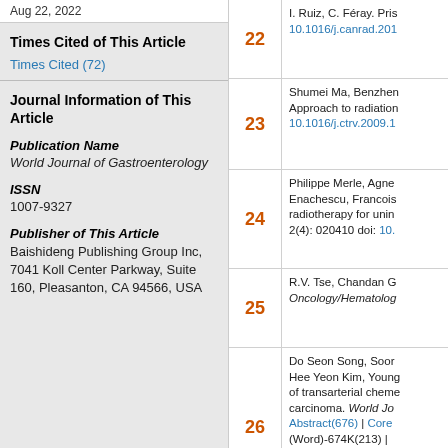Aug 22, 2022
Times Cited of This Article
Times Cited (72)
Journal Information of This Article
Publication Name
World Journal of Gastroenterology
ISSN
1007-9327
Publisher of This Article
Baishideng Publishing Group Inc, 7041 Koll Center Parkway, Suite 160, Pleasanton, CA 94566, USA
| # | Reference |
| --- | --- |
| 22 | I. Ruiz, C. Féray. Pris... 10.1016/j.canrad.201... |
| 23 | Shumei Ma, Benzhen... Approach to radiation... 10.1016/j.ctrv.2009.1... |
| 24 | Philippe Merle, Agne... Enachescu, Francois... radiotherapy for unin... 2(4): 020410 doi: 10.... |
| 25 | R.V. Tse, Chandan G... Oncology/Hematolog... |
| 26 | Do Seon Song, Soor... Hee Yeon Kim, Young... of transarterial cheme... carcinoma. World Jo... Abstract(676) | Core... (Word)-674K(213) | |